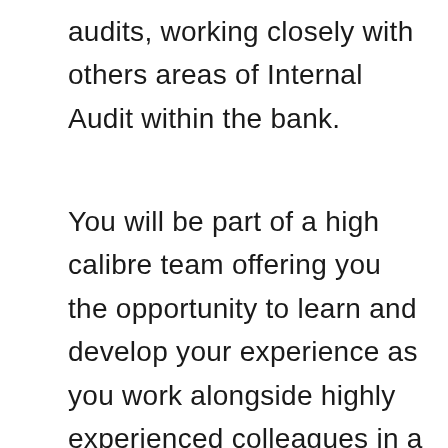audits, working closely with others areas of Internal Audit within the bank.
You will be part of a high calibre team offering you the opportunity to learn and develop your experience as you work alongside highly experienced colleagues in a people focussed and supportive environment.